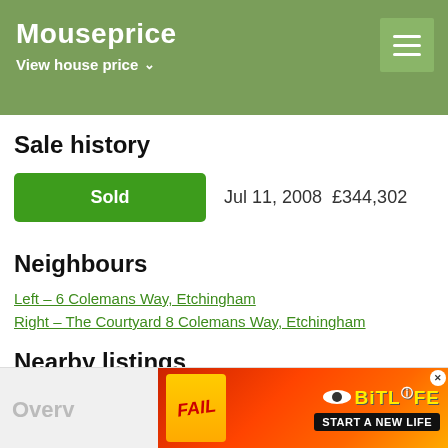Mouseprice — View house price
Sale history
Sold  Jul 11, 2008  £344,302
Neighbours
Left – 6 Colemans Way, Etchingham
Right – The Courtyard 8 Colemans Way, Etchingham
Nearby listings
Property for sale in Etchingham
Property to rent in Etchingham
[Figure (screenshot): BitLife advertisement banner with FAIL text and 'START A NEW LIFE' tagline]